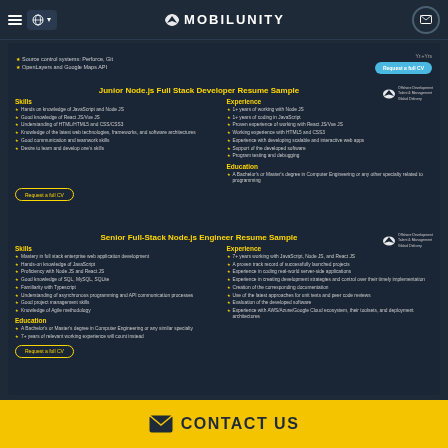MOBILUNITY
Source control systems: Perforce, Git
OpenLayers and Google Maps API
Junior Node.js Full Stack Developer Resume Sample
Skills
Hands on knowledge of JavaScript and Node JS
Good knowledge of React JS/Vue JS
Understanding of HTML/HTML5 and CSS/CSS3
Knowledge of the latest web technologies, frameworks, and software architectures
Good communication and teamwork skills
Desire to learn and develop one's skills
Experience
1+ years of working with Node JS
1+ years of coding in JavaScript
Proven experience of working with React JS/Vue JS
Working experience with HTML5 and CSS3
Experience with developing scalable and interactive web apps
Support of the developed software
Program testing and debugging
Education
A Bachelor's or Master's degree in Computer Engineering or any other specialty related to programming
Senior Full-Stack Node.js Engineer Resume Sample
Skills
Mastery in full stack enterprise web application development
Hands-on knowledge of JavaScript
Proficiency with Node JS and React JS
Good knowledge of SQL, MySQL, SQLite
Familiarity with Typescript
Understanding of asynchronous programming and API communication processes
Good project management skills
Knowledge of Agile methodology
Education
A Bachelor's or Master's degree in Computer Engineering or any similar specialty
7+ years of relevant working experience will count instead
Experience
7+ years working with JavaScript, Node JS, and React JS
A proven track record of successfully launched projects
Experience in coding real-world server-side applications
Experience in creating development strategies and control over their timely implementation
Creation of the corresponding documentation
Use of the latest approaches for unit tests and peer code reviews
Evaluation of the developed software
Experience with AWS/Azure/Google Cloud ecosystem, their toolsets, and deployment architectures
CONTACT US